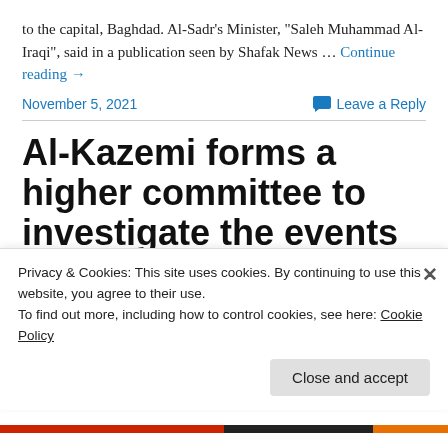to the capital, Baghdad. Al-Sadr's Minister, "Saleh Muhammad Al-Iraqi", said in a publication seen by Shafak News … Continue reading →
November 5, 2021    Leave a Reply
Al-Kazemi forms a higher committee to investigate the events of the Baghdad demonstrations and
Privacy & Cookies: This site uses cookies. By continuing to use this website, you agree to their use.
To find out more, including how to control cookies, see here: Cookie Policy
Close and accept